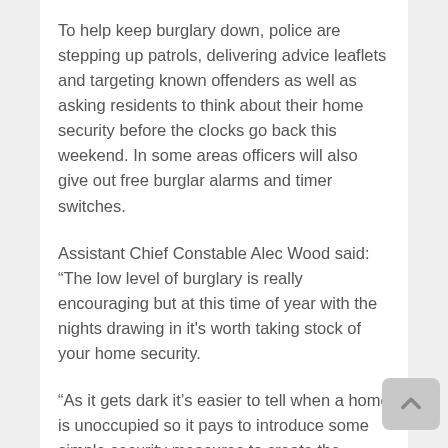To help keep burglary down, police are stepping up patrols, delivering advice leaflets and targeting known offenders as well as asking residents to think about their home security before the clocks go back this weekend. In some areas officers will also give out free burglar alarms and timer switches.
Assistant Chief Constable Alec Wood said: “The low level of burglary is really encouraging but at this time of year with the nights drawing in it's worth taking stock of your home security.
“As it gets dark it’s easier to tell when a home is unoccupied so it pays to introduce some simple security measures to create the impression that someone’s in.
“This not only helps to deceive burglars but it also reduces the chance that your home will be targeted.